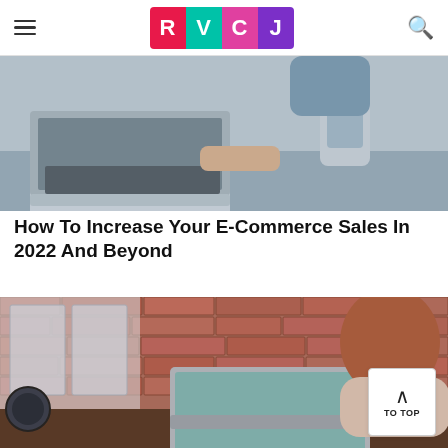RVCJ
[Figure (photo): Person using a laptop computer, with hands visible typing/browsing, another person in background holding a smartphone. Grey/blue tones.]
How To Increase Your E-Commerce Sales In 2022 And Beyond
[Figure (photo): Woman with reddish-brown hair sitting at a wooden desk working on a laptop, brick wall in background.]